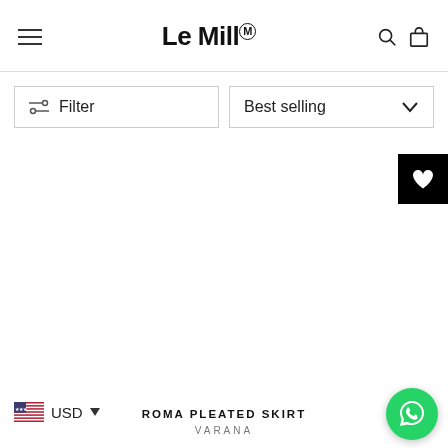Le Mill
Filter
Best selling
[Figure (screenshot): Empty product listing area with a white background]
[Figure (other): Black wishlist heart button in top-right corner]
USD
ROMA PLEATED SKIRT
VARANA
[Figure (other): WhatsApp green circular button in bottom-right corner]